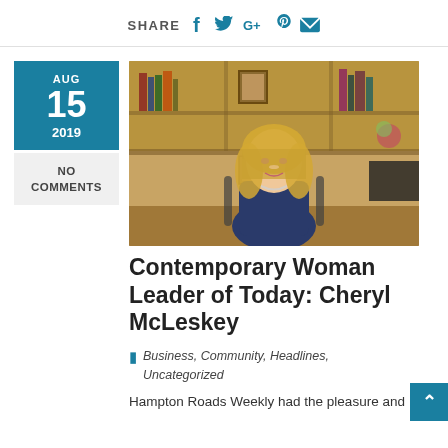SHARE [social icons: facebook, twitter, google+, pinterest, email]
AUG
15
2019
NO COMMENTS
[Figure (photo): Professional woman with blonde hair sitting at a desk in an office with wooden bookshelves behind her]
Contemporary Woman Leader of Today: Cheryl McLeskey
Business, Community, Headlines, Uncategorized
Hampton Roads Weekly had the pleasure and